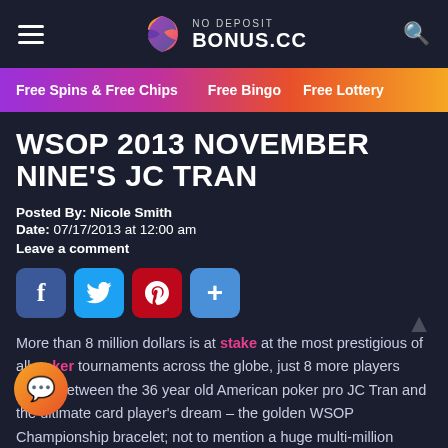NO DEPOSIT BONUS.CC
Free Spins & Free Chips | Free Bingo | Free Lottery
WSOP 2013 NOVEMBER NINE'S JC TRAN
Posted By: Nicole Smith
Date: 07/17/2013 at 12:00 am
Leave a comment
[Figure (infographic): Social share buttons: Facebook, Twitter, Pinterest, More]
More than 8 million dollars is at stake at the most prestigious of all poker tournaments across the globe, just 8 more players stand between the 36 year old American poker pro JC Tran and the ultimate card player's dream – the golden WSOP Championship bracelet; not to mention a huge multi-million dollar